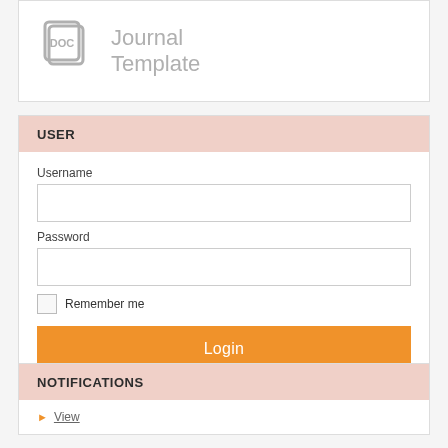[Figure (logo): DOC Journal Template logo with document icon]
USER
Username
Password
Remember me
Login
NOTIFICATIONS
View